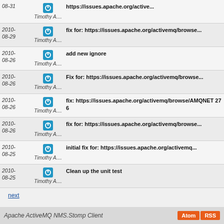| Date | User | Message |
| --- | --- | --- |
| 2010-08-31 | Timothy A.... | https://issues.apache.org/active... |
| 2010-08-29 | Timothy A.... | fix for: https://issues.apache.org/activemq/browse... |
| 2010-08-26 | Timothy A.... | add new ignore |
| 2010-08-26 | Timothy A.... | Fix for: https://issues.apache.org/activemq/browse... |
| 2010-08-26 | Timothy A.... | fix: https://issues.apache.org/activemq/browse/AMQNET 276 |
| 2010-08-26 | Timothy A.... | fix for: https://issues.apache.org/activemq/browse... |
| 2010-08-25 | Timothy A.... | initial fix for: https://issues.apache.org/activemq... |
| 2010-08-25 | Timothy A.... | Clean up the unit test |
next
Apache ActiveMQ NMS.Stomp Client